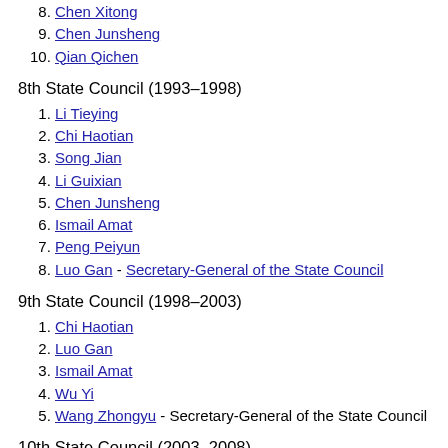8. Chen Xitong
9. Chen Junsheng
10. Qian Qichen
8th State Council (1993–1998)
1. Li Tieying
2. Chi Haotian
3. Song Jian
4. Li Guixian
5. Chen Junsheng
6. Ismail Amat
7. Peng Peiyun
8. Luo Gan - Secretary-General of the State Council
9th State Council (1998–2003)
1. Chi Haotian
2. Luo Gan
3. Ismail Amat
4. Wu Yi
5. Wang Zhongyu - Secretary-General of the State Council
10th State Council (2003–2008)